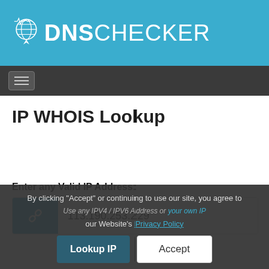[Figure (logo): DNS Checker logo with globe/pin icon and heartbeat line, white text on teal background]
Navigation bar with hamburger menu
IP WHOIS Lookup
Enter any Valid IP Address:
113.190.253.229
Use any IPV4 / IPV6 Address or your own IP
By clicking "Accept" or continuing to use our site, you agree to our Website's Privacy Policy